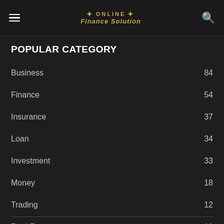Online Finance Solution
POPULAR CATEGORY
Business 84
Finance 54
Insurance 37
Loan 34
Investment 33
Money 18
Trading 12
Real Estate 11
Loan 10